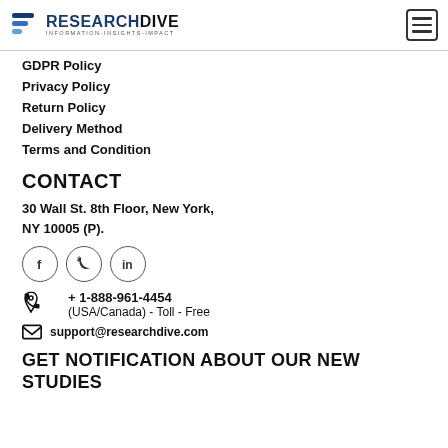Research Dive - INFORMATION-INSIGHTS-IMPACT
GDPR Policy
Privacy Policy
Return Policy
Delivery Method
Terms and Condition
CONTACT
30 Wall St. 8th Floor, New York, NY 10005 (P).
[Figure (illustration): Social media icons: Facebook, Twitter, LinkedIn in circles]
+ 1-888-961-4454
(USA/Canada) - Toll - Free
support@researchdive.com
GET NOTIFICATION ABOUT OUR NEW STUDIES